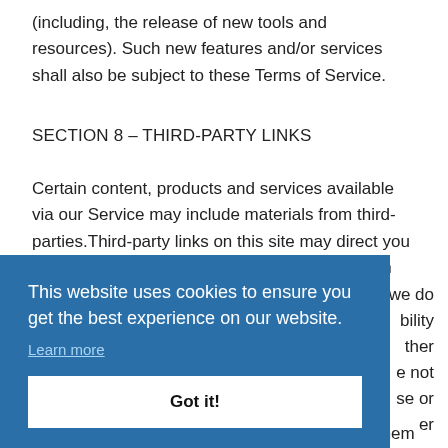(including, the release of new tools and resources). Such new features and/or services shall also be subject to these Terms of Service.
SECTION 8 – THIRD-PARTY LINKS
Certain content, products and services available via our Service may include materials from third-parties.Third-party links on this site may direct you to third-party websites that are not affiliated with us. We are not responsible for examining or evaluating the content or accuracy and we do not warrant and will not have any liability or responsibility for any third-party materials or websites, or for any other materials, products, or services of third-parties. We are not responsible for any harm or damages related to the purchase or use of goods, services, resources, content, or any other transactions made in connection with any third-party websites. Please review carefully the third-party's policies and practices and make sure you understand them before you engage in any transaction.
This website uses cookies to ensure you get the best experience on our website.
Learn more
Got it!
icies and practices and make sure you understand them before